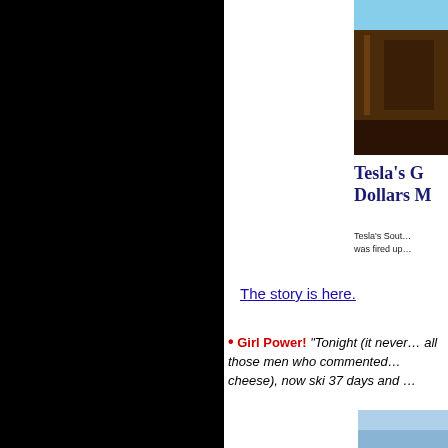[Figure (photo): Exterior photo of a building, partially visible, dark wood or brick tones with sky at top]
Tesla's G… Dollars M…
Tesla's Sout… was fired up…
The story is here.
• Girl Power! "Tonight (it never… all those men who commented… cheese), now ski 37 days and …
[Figure (photo): Outdoor photo, light blue sky visible, partial view]